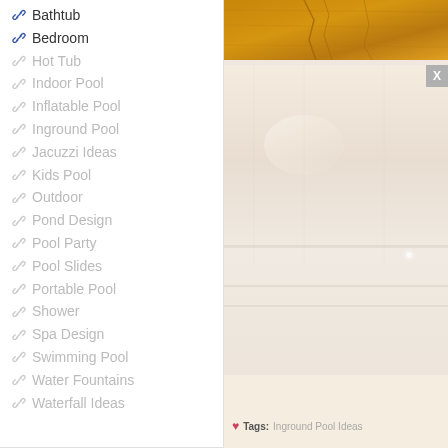Bathtub
Bedroom
Hot Tub
Indoor Pool
Inflatable Pool
Inground Pool
Jacuzzi Ideas
Kids Pool
Outdoor
Pond Design
Pool Party
Pool Slides
Portable Pool
Shower
Spa Design
Swimming Pool
Water Fountains
Waterfall Ideas
[Figure (photo): Wooden textured ceiling or surface - warm orange/brown tones with cracks]
[Figure (photo): Interior room scene - bathtub or pool area with pale warm tones, light reflections]
Tags: Inground Pool Ideas